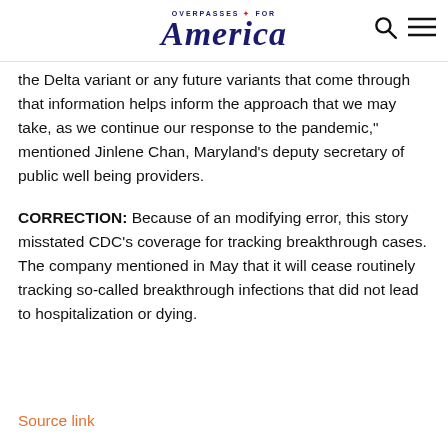OVERPASSES FOR America
the Delta variant or any future variants that come through that information helps inform the approach that we may take, as we continue our response to the pandemic,” mentioned Jinlene Chan, Maryland’s deputy secretary of public well being providers.
CORRECTION: Because of an modifying error, this story misstated CDC’s coverage for tracking breakthrough cases. The company mentioned in May that it will cease routinely tracking so-called breakthrough infections that did not lead to hospitalization or dying.
Source link